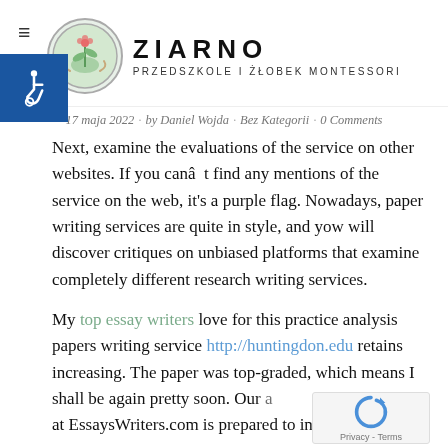ZIARNO PRZEDSZKOLE I ŻŁOBEK MONTESSORI
17 maja 2022 · by Daniel Wojda · Bez Kategorii · 0 Comments
Next, examine the evaluations of the service on other websites. If you canât find any mentions of the service on the web, it's a purple flag. Nowadays, paper writing services are quite in style, and yow will discover critiques on unbiased platforms that examine completely different research writing services.
My top essay writers love for this practice analysis papers writing service http://huntingdon.edu retains increasing. The paper was top-graded, which means I shall be again pretty soon. Our at EssaysWriters.com is prepared to invest the